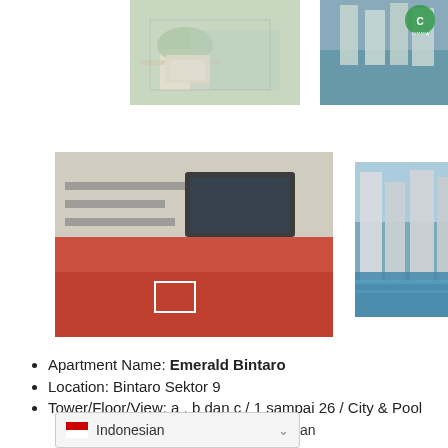[Figure (photo): Interior photo of apartment living area with table and sofa]
[Figure (photo): Aerial view of Emerald Bintaro apartment complex with Cemara logo]
[Figure (photo): Bedroom interior with red bedding and wall-mounted TV]
[Figure (photo): Exterior view of apartment towers with rooftop pool]
Apartment Name: Emerald Bintaro
Location: Bintaro Sektor 9
Tower/Floor/View: a , b dan c / 1 sampai 26 / City & Pool
Size: 21sqm / 25sqm / 39 sqm
Bedroom: Studio dan 2 Bedroom
Bathroom: 1
Condition:
Siap huni (Tower A dan B)
Inden (Tower C)
Indonesian  ∨  an